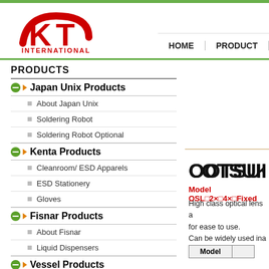[Figure (logo): KT International logo — red K and T letters with arc, text INTERNATIONAL below in red]
HOME  PRODUCT
PRODUCTS
Japan Unix Products
About Japan Unix
Soldering Robot
Soldering Robot Optional
Kenta Products
Cleanroom/ ESD Apparels
ESD Stationery
Gloves
Fisnar Products
About Fisnar
Liquid Dispensers
Vessel Products
About Vessel
Air Tools
Extech Products
[Figure (logo): OTSUKA logo in bold black stylized text]
Model OSL□2×□4×□Fixed
High class optical lens a
for ease to use.
Can be widely used ina
| Model |  |
| --- | --- |